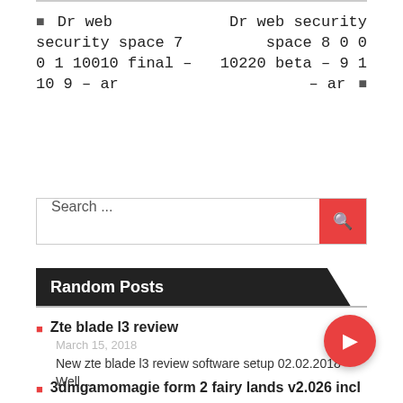← Dr web security space 7 0 1 10010 final – 10 9 – ar
Dr web security space 8 0 0 10220 beta – 9 1 – ar →
Search ...
Random Posts
Zte blade l3 review
March 15, 2018
New zte blade l3 review software setup 02.02.2018 – Well ...
3dmgamomagie form 2 fairy lands v2.026 incl